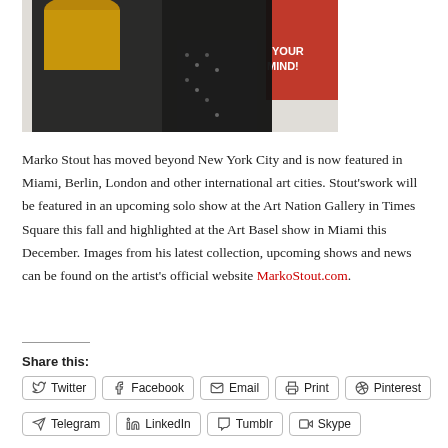[Figure (photo): Two women dressed in black at an art gallery event, with a colorful artwork visible in the background.]
Marko Stout has moved beyond New York City and is now featured in Miami, Berlin, London and other international art cities. Stout’swork will be featured in an upcoming solo show at the Art Nation Gallery in Times Square this fall and highlighted at the Art Basel show in Miami this December. Images from his latest collection, upcoming shows and news can be found on the artist’s official website MarkoStout.com.
Share this:
Twitter
Facebook
Email
Print
Pinterest
Telegram
LinkedIn
Tumblr
Skype